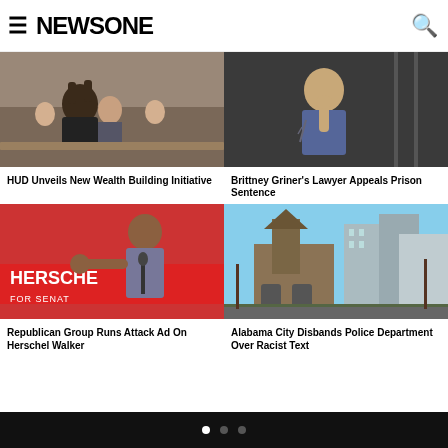NEWSONE
[Figure (photo): Group of people at a meeting or event, Black woman with glasses in foreground with hands raised]
HUD Unveils New Wealth Building Initiative
[Figure (photo): Person sitting in a dark room, tattooed arms, hand near face]
Brittney Griner's Lawyer Appeals Prison Sentence
[Figure (photo): Herschel Walker campaign event, man at podium with arm outstretched, HERSCHEL FOR SENATE banner in background]
Republican Group Runs Attack Ad On Herschel Walker
[Figure (photo): Urban street scene with historic church building and modern skyscrapers in background]
Alabama City Disbands Police Department Over Racist Text